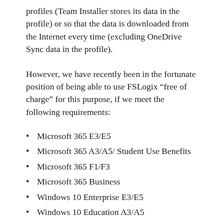profiles (Team Installer stores its data in the profile) or so that the data is downloaded from the Internet every time (excluding OneDrive Sync data in the profile).
However, we have recently been in the fortunate position of being able to use FSLogix “free of charge” for this purpose, if we meet the following requirements:
Microsoft 365 E3/E5
Microsoft 365 A3/A5/ Student Use Benefits
Microsoft 365 F1/F3
Microsoft 365 Business
Windows 10 Enterprise E3/E5
Windows 10 Education A3/A5